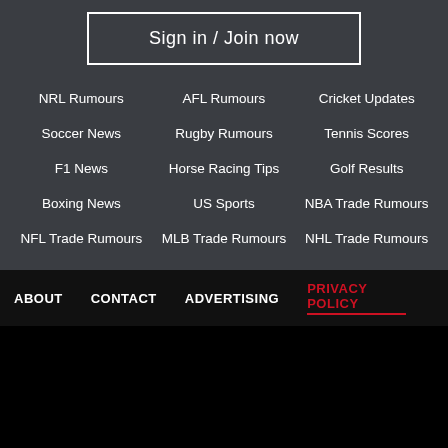Sign in / Join now
NRL Rumours
AFL Rumours
Cricket Updates
Soccer News
Rugby Rumours
Tennis Scores
F1 News
Horse Racing Tips
Golf Results
Boxing News
US Sports
NBA Trade Rumours
NFL Trade Rumours
MLB Trade Rumours
NHL Trade Rumours
ABOUT   CONTACT   ADVERTISING   PRIVACY POLICY